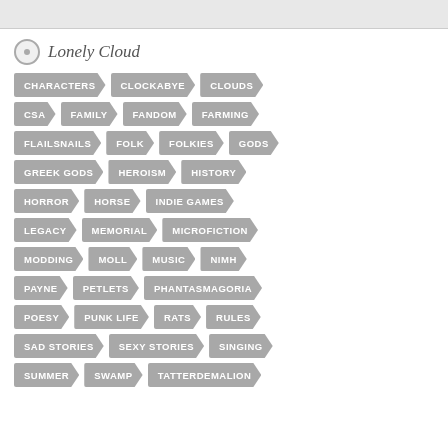Lonely Cloud
CHARACTERS, CLOCKABYE, CLOUDS
CSA, FAMILY, FANDOM, FARMING
FLAILSNAILS, FOLK, FOLKIES, GODS
GREEK GODS, HEROISM, HISTORY
HORROR, HORSE, INDIE GAMES
LEGACY, MEMORIAL, MICROFICTION
MODDING, MOLL, MUSIC, NIMH
PAYNE, PETLETS, PHANTASMAGORIA
POESY, PUNK LIFE, RATS, RULES
SAD STORIES, SEXY STORIES, SINGING
SUMMER, SWAMP, TATTERDEMALION